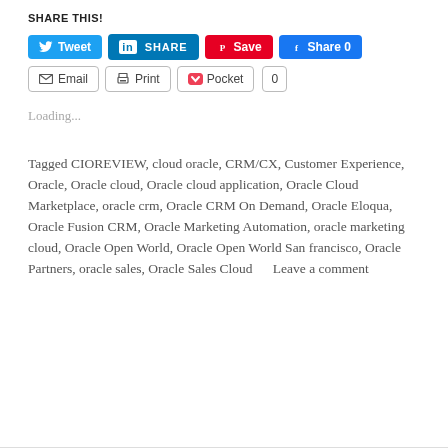SHARE THIS!
[Figure (screenshot): Social sharing buttons row 1: Tweet (Twitter, blue), SHARE (LinkedIn, dark blue), Save (Pinterest, red), Share 0 (Facebook, blue)]
[Figure (screenshot): Social sharing buttons row 2: Email (outline), Print (outline), Pocket (outline), 0 (count badge)]
Loading...
Tagged CIOREVIEW, cloud oracle, CRM/CX, Customer Experience, Oracle, Oracle cloud, Oracle cloud application, Oracle Cloud Marketplace, oracle crm, Oracle CRM On Demand, Oracle Eloqua, Oracle Fusion CRM, Oracle Marketing Automation, oracle marketing cloud, Oracle Open World, Oracle Open World San francisco, Oracle Partners, oracle sales, Oracle Sales Cloud     Leave a comment